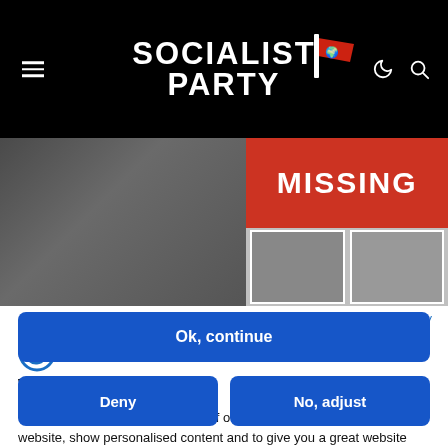SOCIALIST PARTY
[Figure (photo): Hero image showing a 'MISSING' poster sign in red with white text, and two small photos below it, against a blurred dark background.]
Privacy policy
[Figure (logo): Cookiebot logo icon - circular C shape in blue]
We use cookies
We may place these for analysis of our visitor data, to improve our website, show personalised content and to give you a great website experience. For more information about the cookies we use open the settings.
Ok, continue
Deny
No, adjust